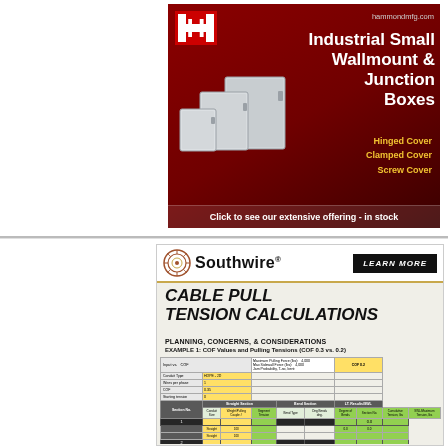[Figure (illustration): Hammond Manufacturing advertisement showing industrial small wallmount and junction boxes on a dark red background. Logo top left, URL top right, product images of gray metal enclosures, features listed in yellow, CTA at bottom.]
[Figure (infographic): Southwire Cable Pull Tension Calculations ad showing logo, Learn More button, title 'CABLE PULL TENSION CALCULATIONS', subtitle 'PLANNING, CONCERNS, & CONSIDERATIONS', example table with COF values and pulling tensions.]